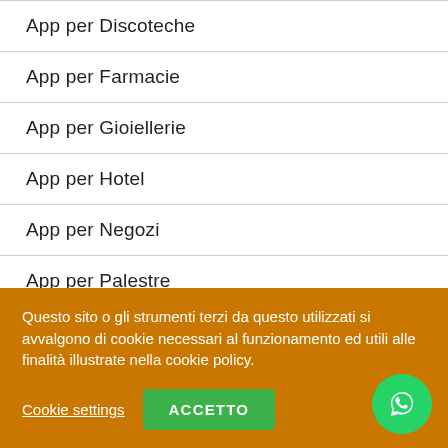App per Discoteche
App per Farmacie
App per Gioiellerie
App per Hotel
App per Negozi
App per Palestre
App per Parrucchieri
App per Pizzerie
Questo sito o gli strumenti terzi da questo utilizzati si avvalgono di cookie necessari al funzionamento ed utili alle finalità illustrate nella cookie policy.
Cookie settings
ACCETTO